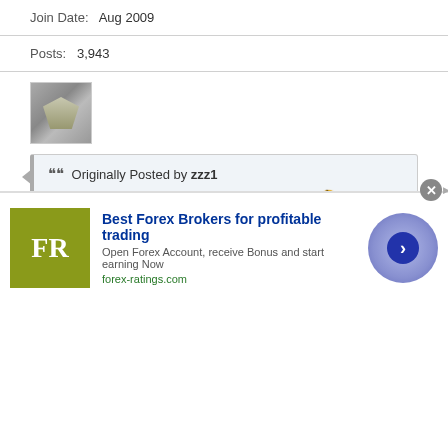Join Date:  Aug 2009
Posts:  3,943
[Figure (photo): Small forum avatar showing a silver/grey diamond or gem shape on a muted background]
Originally Posted by zzz1 — i though it was going thru maintenance period..
yes thought it was hijacked
infolinks | Reply With Quote
Best Forex Brokers for profitable trading — Open Forex Account, receive Bonus and start earning Now — forex-ratings.com